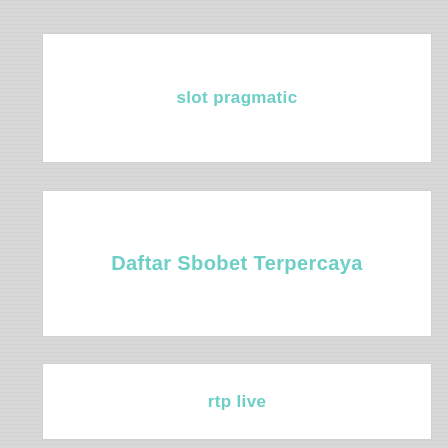slot pragmatic
Daftar Sbobet Terpercaya
rtp live